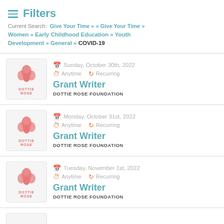Filters
Current Search: Give Your Time » » Give Your Time » Women » Early Childhood Education » Youth Development » General » COVID-19
Sunday, October 30th, 2022 | Anytime | Recurring | Grant Writer | DOTTIE ROSE FOUNDATION
Monday, October 31st, 2022 | Anytime | Recurring | Grant Writer | DOTTIE ROSE FOUNDATION
Tuesday, November 1st, 2022 | Anytime | Recurring | Grant Writer | DOTTIE ROSE FOUNDATION